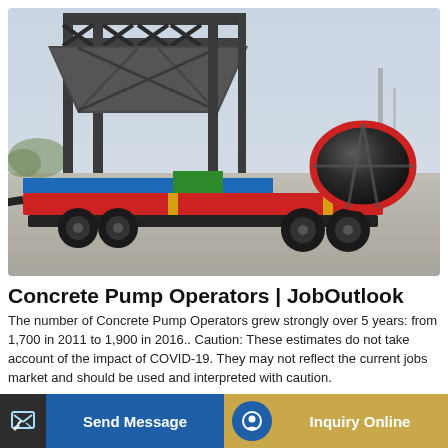[Figure (photo): A concrete pump / mobile batching plant on a trailer with colorful frame (red, blue, green), large drum on the right, dark steel hopper structure, parked on a concrete yard with hazy sky background.]
Concrete Pump Operators | JobOutlook
The number of Concrete Pump Operators grew strongly over 5 years: from 1,700 in 2011 to 1,900 in 2016.. Caution: These estimates do not take account of the impact of COVID-19. They may not reflect the current jobs market and should be used and interpreted with caution.
Send Message
Inquiry Online